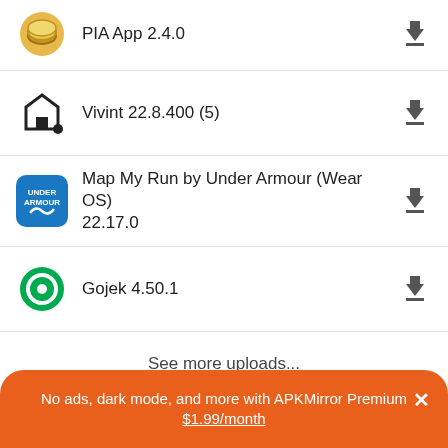PIA App 2.4.0
Vivint 22.8.400 (5)
Map My Run by Under Armour (Wear OS) 22.17.0
Gojek 4.50.1
See more uploads...
Popular In Last 30 Days
No ads, dark mode, and more with APKMirror Premium × $1.99/month